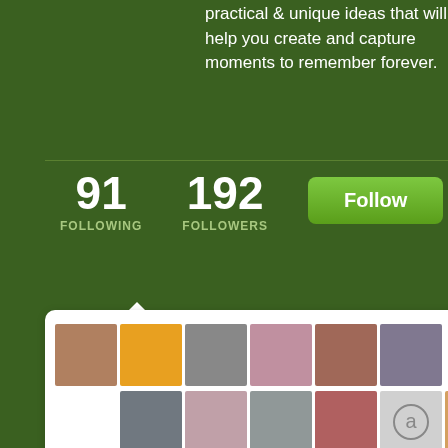practical & unique ideas that will help you create and capture moments to remember forever.
91 FOLLOWING
192 FOLLOWERS
[Figure (screenshot): Follow button - green rounded rectangle button with white text 'Follow']
[Figure (infographic): Grid of follower/following avatar thumbnails in a white popup card with rounded corners]
Search
[Figure (screenshot): Search input field with Search button]
[Figure (photo): Right column: book or product photo with text LITERA partially visible]
My best tips for Sta
[Figure (photo): Right column: product photo with 'ja' text visible on colorful striped packaging]